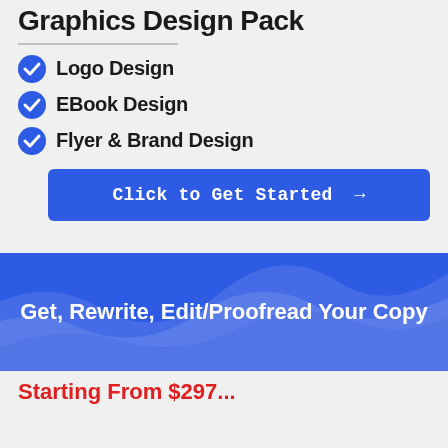Graphics Design Pack
Logo Design
EBook Design
Flyer & Brand Design
Click to Get Started →
[Figure (illustration): Blue banner with abstract wave shapes and text: Get, Rewrite, Edit/Proofread Your Copy]
Starting From $297...